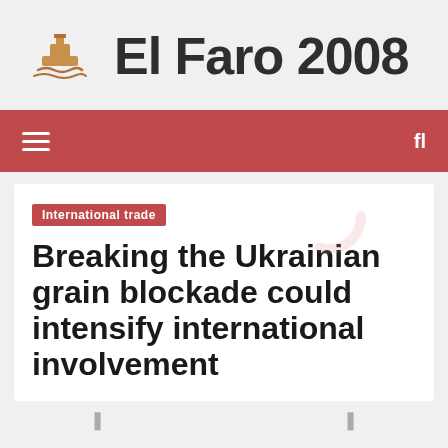[Figure (logo): El Faro 2008 website logo with a golden ship icon and bold dark text]
≡  fl
International trade
Breaking the Ukrainian grain blockade could intensify international involvement